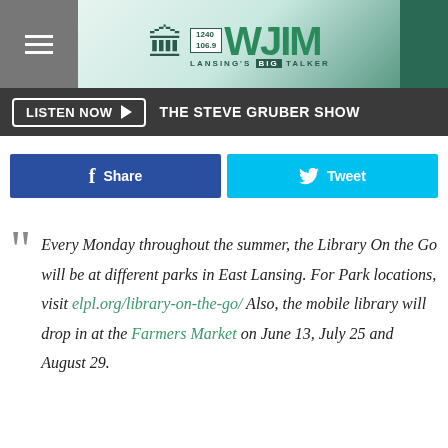WJIM 1240 / 106.9 — Lansing's Big Talker
LISTEN NOW ▶  THE STEVE GRUBER SHOW
Share  Tweet
"Every Monday throughout the summer, the Library On the Go will be at different parks in East Lansing. For Park locations, visit elpl.org/library-on-the-go/ Also, the mobile library will drop in at the Farmers Market on June 13, July 25 and August 29.